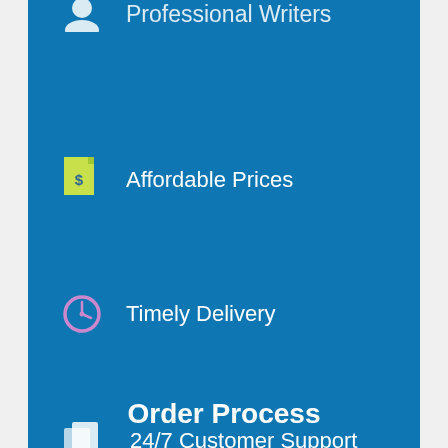Professional Writers
Affordable Prices
Timely Delivery
24/7 Customer Support
Order Process